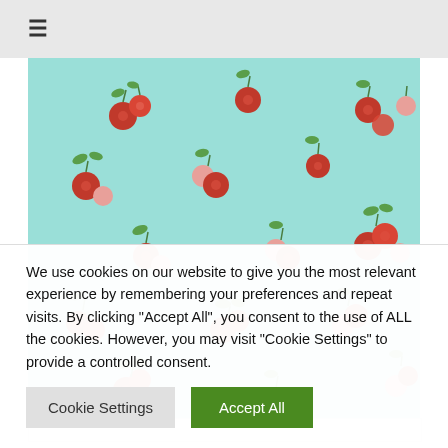≡
[Figure (photo): Light blue fabric with scattered red cherry/cranberry pattern and green leaves]
We use cookies on our website to give you the most relevant experience by remembering your preferences and repeat visits. By clicking "Accept All", you consent to the use of ALL the cookies. However, you may visit "Cookie Settings" to provide a controlled consent.
Cookie Settings  Accept All